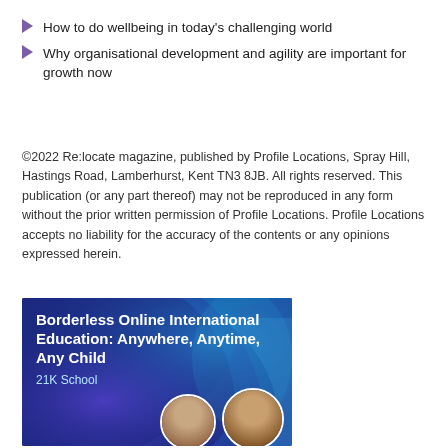How to do wellbeing in today's challenging world
Why organisational development and agility are important for growth now
©2022 Re:locate magazine, published by Profile Locations, Spray Hill, Hastings Road, Lamberhurst, Kent TN3 8JB. All rights reserved. This publication (or any part thereof) may not be reproduced in any form without the prior written permission of Profile Locations. Profile Locations accepts no liability for the accuracy of the contents or any opinions expressed herein.
[Figure (photo): Advertisement for 21K School showing 'Borderless Online International Education: Anywhere, Anytime, Any Child' with two portrait photos of men on a blue/purple abstract background]